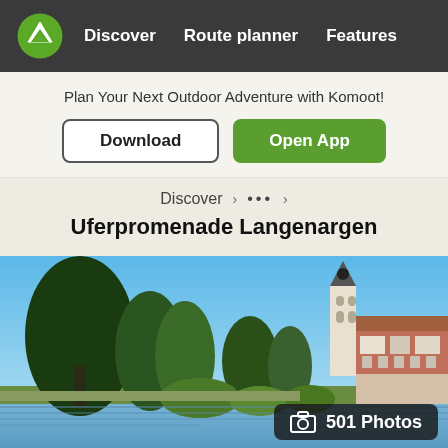Discover   Route planner   Features
Plan Your Next Outdoor Adventure with Komoot!
Download   Open App
Discover > ... > Uferpromenade Langenargen
Uferpromenade Langenargen
[Figure (photo): Photo of Uferpromenade Langenargen showing a lakeside view with tall trees, a church steeple and historic buildings. Caption badge shows 501 Photos.]